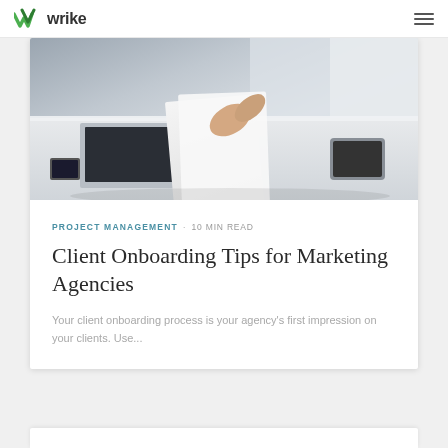wrike
[Figure (photo): Close-up photo of hands on a desk with documents, laptop, and office items — a business/professional setting with muted, bright tones.]
PROJECT MANAGEMENT · 10 MIN READ
Client Onboarding Tips for Marketing Agencies
Your client onboarding process is your agency's first impression on your clients. Use...